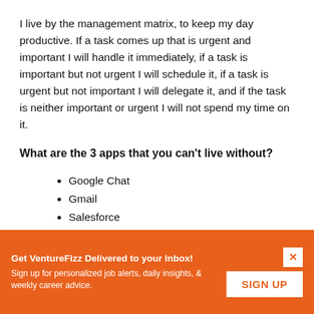I live by the management matrix, to keep my day productive. If a task comes up that is urgent and important I will handle it immediately, if a task is important but not urgent I will schedule it, if a task is urgent but not important I will delegate it, and if the task is neither important or urgent I will not spend my time on it.
What are the 3 apps that you can't live without?
Google Chat
Gmail
Salesforce
Get VentureFizz Delivered to your Inbox! Sign up for personalized job alerts, daily insights, & weekly career advice.